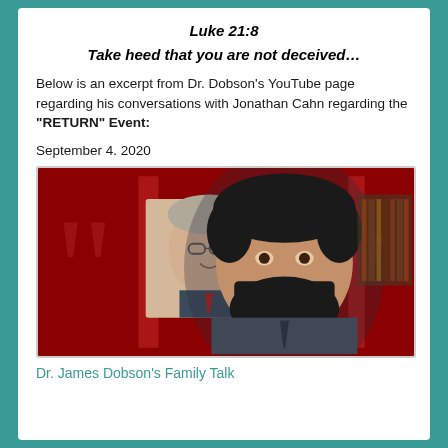Luke 21:8
Take heed that you are not deceived…
Below is an excerpt from Dr. Dobson's YouTube page regarding his conversations with Jonathan Cahn regarding the "RETURN" Event:
September 4. 2020
[Figure (photo): Photo of Dr. James Dobson (older gentleman with glasses, smiling) in an inset, and Jonathan Cahn (dark beard, dark hair, wearing a suit) in the foreground, against a dark red background with large quotation mark graphics.]
Dr. James Dobson's Family Talk